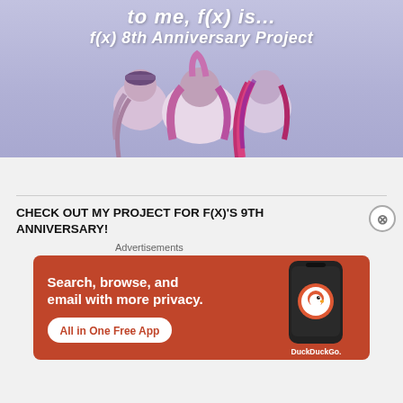[Figure (illustration): f(x) 8th Anniversary Project promotional banner with light purple/lavender background, showing three figures from behind with colorful hair (purple, pink, lavender). Large italic white text reads 'to me, f(x) is...' and 'f(x) 8th Anniversary Project']
CHECK OUT MY PROJECT FOR F(X)'S 9TH ANNIVERSARY!
Advertisements
[Figure (screenshot): DuckDuckGo advertisement banner with orange/red background. Text reads 'Search, browse, and email with more privacy. All in One Free App' with a phone showing DuckDuckGo app and logo.]